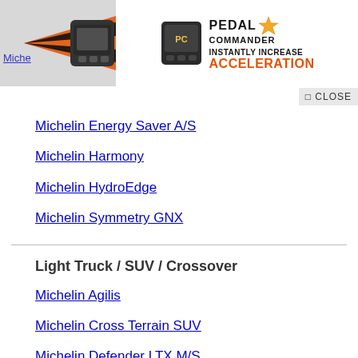[Figure (illustration): Pedal Commander advertisement banner with orange arrow graphic, device image, logo with star, and text 'INSTANTLY INCREASE ACCELERATION']
CLOSE
Michelin Energy Saver A/S
Michelin Harmony
Michelin HydroEdge
Michelin Symmetry GNX
Light Truck / SUV / Crossover
Michelin Agilis
Michelin Cross Terrain SUV
Michelin Defender LTX M/S